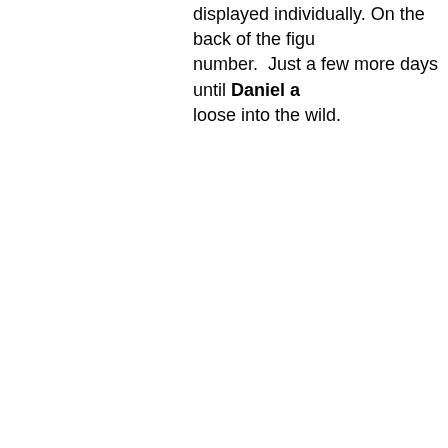displayed individually. On the back of the figu number.  Just a few more days until Daniel a loose into the wild.